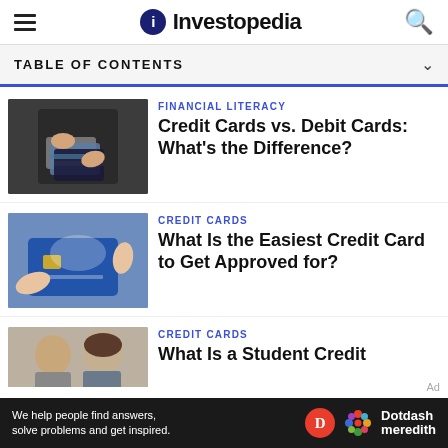Investopedia
TABLE OF CONTENTS
[Figure (photo): Person holding multiple credit and debit cards in their hands]
FINANCIAL LITERACY
Credit Cards vs. Debit Cards: What's the Difference?
[Figure (photo): Hand holding a blue credit card against a grey background]
CREDIT CARDS
What Is the Easiest Credit Card to Get Approved for?
[Figure (photo): Partial image of two people, man and woman, credit cards article]
CREDIT CARDS
What Is a Student Credit
We help people find answers, solve problems and get inspired. Dotdash meredith